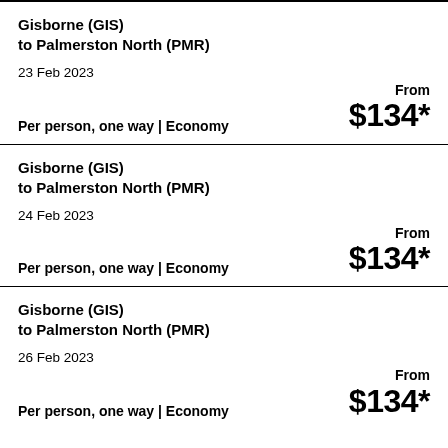Gisborne (GIS)
to Palmerston North (PMR)
23 Feb 2023
Per person, one way | Economy
From $134*
Gisborne (GIS)
to Palmerston North (PMR)
24 Feb 2023
Per person, one way | Economy
From $134*
Gisborne (GIS)
to Palmerston North (PMR)
26 Feb 2023
Per person, one way | Economy
From $134*